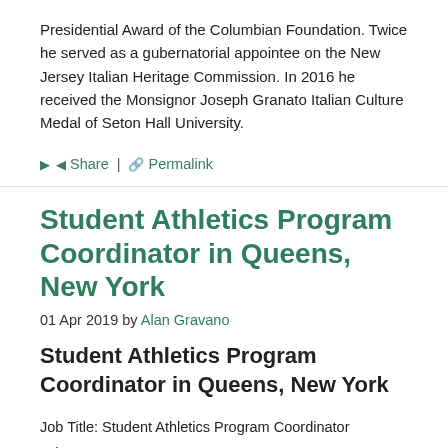Presidential Award of the Columbian Foundation. Twice he served as a gubernatorial appointee on the New Jersey Italian Heritage Commission. In 2016 he received the Monsignor Joseph Granato Italian Culture Medal of Seton Hall University.
Share | Permalink
Student Athletics Program Coordinator in Queens, New York
01 Apr 2019 by Alan Gravano
Student Athletics Program Coordinator in Queens, New York
Job Title: Student Athletics Program Coordinator
Job ID: 20416